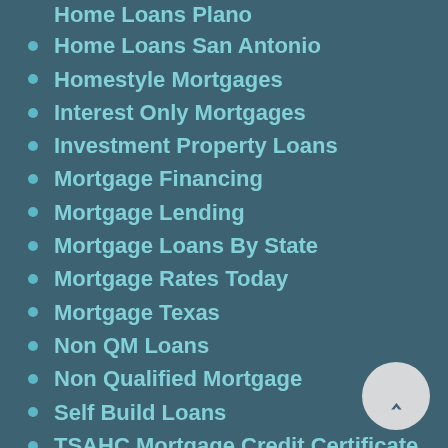Home Loans Plano
Home Loans San Antonio
Homestyle Mortgages
Interest Only Mortgages
Investment Property Loans
Mortgage Financing
Mortgage Lending
Mortgage Loans By State
Mortgage Rates Today
Mortgage Texas
Non QM Loans
Non Qualified Mortgage
Self Build Loans
TSAHC Mortgage Credit Certificate
USDA Loans